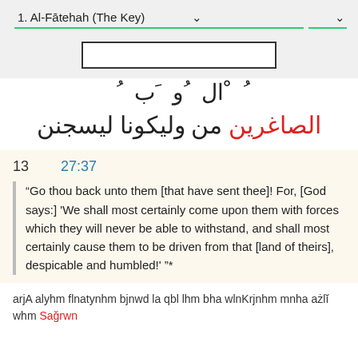1. Al-Fātehah (The Key)
[Figure (screenshot): Search input box, empty]
Arabic text line (partial, decorative characters)
ليسجنن وليكونا من الصاغرين
13   27:37
"Go thou back unto them [that have sent thee]! For, [God says:] 'We shall most certainly come upon them with forces which they will never be able to withstand, and shall most certainly cause them to be driven from that [land of theirs], despicable and humbled!' "*
arjA alyhm flnatynhm bjnwd la qbl lhm bha wlnKrjnhm mnha ażlĭ whm Sağrwn